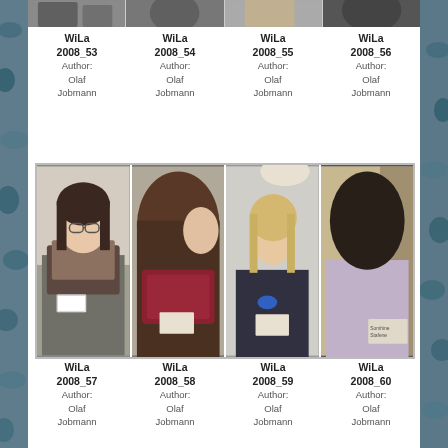[Figure (photo): Top strip of four portrait photos partially visible at top edge]
WiLa
2008_53
Author:
Olaf
Jobmann
WiLa
2008_54
Author:
Olaf
Jobmann
WiLa
2008_55
Author:
Olaf
Jobmann
WiLa
2008_56
Author:
Olaf
Jobmann
[Figure (photo): Four portrait photos of women at a conference/event, each wearing name tags. Bottom row: WiLa 2008_57 through WiLa 2008_60]
WiLa
2008_57
Author:
Olaf
Jobmann
WiLa
2008_58
Author:
Olaf
Jobmann
WiLa
2008_59
Author:
Olaf
Jobmann
WiLa
2008_60
Author:
Olaf
Jobmann